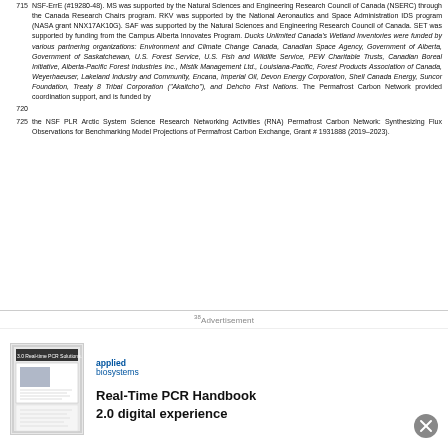715 NSF-ErrE (#19280-48). MS was supported by the Natural Sciences and Engineering Research Council of Canada (NSERC) through the Canada Research Chairs program. RKV was supported by the National Aeronautics and Space Administration IDS program (NASA grant NNX17AK10G). SAF was supported by the Natural Sciences and Engineering Research Council of Canada. SET was supported by funding from the Campus Alberta Innovates Program. Ducks Unlimited Canada's Wetland Inventories were funded by various partnering organizations: Environment and Climate Change Canada, Canadian Space Agency, Government of Alberta, Government of Saskatchewan, U.S. Forest Service, U.S. Fish and Wildlife Service, PEW Charitable Trusts, Canadian Boreal Initiative, Alberta-Pacific Forest Industries Inc., Mistik Management Ltd., Louisiana-Pacific, Forest Products Association of Canada, Weyerhaeuser, Lakeland Industry and Community, Encana, Imperial Oil, Devon Energy Corporation, Shell Canada Energy, Suncor Foundation, Treaty 8 Tribal Corporation ("Akaitcho"), and Dehcho First Nations. The Permafrost Carbon Network provided coordination support, and is funded by
720 (continued from 715)
725 the NSF PLR Arctic System Science Research Networking Activities (RNA) Permafrost Carbon Network: Synthesizing Flux Observations for Benchmarking Model Projections of Permafrost Carbon Exchange, Grant # 1931888 (2019–2023).
[Figure (other): Advertisement banner: Applied Biosystems logo and Real-Time PCR Handbook 2.0 digital experience promotional image]